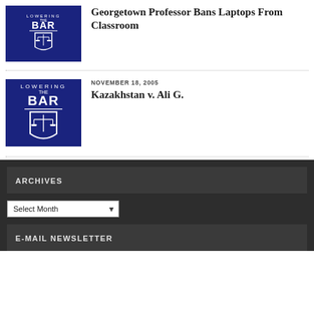[Figure (logo): Lowering the Bar logo — white scales of justice on dark navy background]
Georgetown Professor Bans Laptops From Classroom
[Figure (logo): Lowering the Bar logo — white scales of justice on dark navy background]
NOVEMBER 18, 2005
Kazakhstan v. Ali G.
ARCHIVES
Select Month
E-MAIL NEWSLETTER